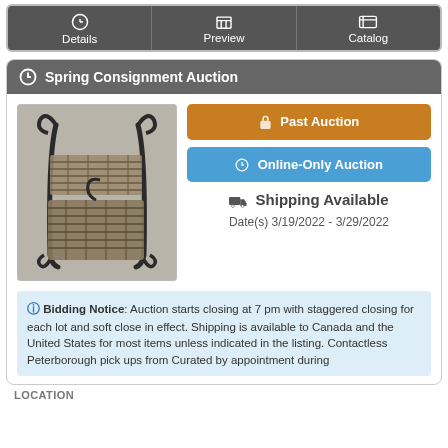Details | Preview | Catalog
Spring Consignment Auction
[Figure (photo): A wicker and black metal magazine rack / basket stand on a grey background]
Past Auction
Online-Only Auction
Shipping Available
Date(s) 3/19/2022 - 3/29/2022
Bidding Notice: Auction starts closing at 7 pm with staggered closing for each lot and soft close in effect. Shipping is available to Canada and the United States for most items unless indicated in the listing. Contactless Peterborough pick ups from Curated by appointment during
LOCATION